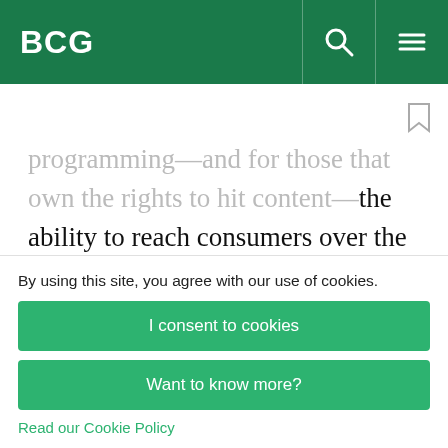BCG
programming—and for those that own the rights to hit content—the ability to reach consumers over the Internet opens the door to new monetization opportunities: networks that can deliver content directly to consumers. Networks don't have to share revenues with cable and satellite partners
By using this site, you agree with our use of cookies.
I consent to cookies
Want to know more?
Read our Cookie Policy